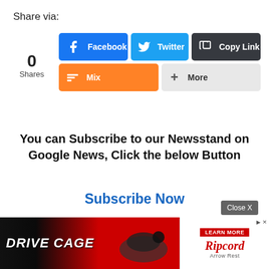Share via:
0
Shares
[Figure (screenshot): Social share buttons: Facebook (blue), Twitter (light blue), Copy Link (dark), Mix (orange), More (light gray)]
You can Subscribe to our Newsstand on Google News, Click the below Button
Subscribe Now
Close X
[Figure (screenshot): Ad banner showing DRIVE CAGE on left (red/black background with product photo) and Ripcord Arrow Rest on right with LEARN MORE button]